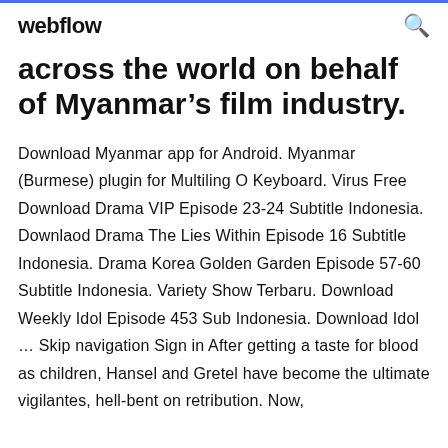webflow
across the world on behalf of Myanmar's film industry.
Download Myanmar app for Android. Myanmar (Burmese) plugin for Multiling O Keyboard. Virus Free Download Drama VIP Episode 23-24 Subtitle Indonesia. Downlaod Drama The Lies Within Episode 16 Subtitle Indonesia. Drama Korea Golden Garden Episode 57-60 Subtitle Indonesia. Variety Show Terbaru. Download Weekly Idol Episode 453 Sub Indonesia. Download Idol … Skip navigation Sign in After getting a taste for blood as children, Hansel and Gretel have become the ultimate vigilantes, hell-bent on retribution. Now,